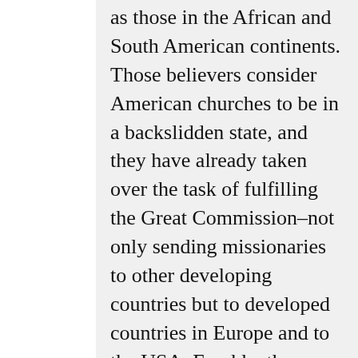as those in the African and South American continents. Those believers consider American churches to be in a backslidden state, and they have already taken over the task of fulfilling the Great Commission–not only sending missionaries to other developing countries but to developed countries in Europe and to the USA. Frankly, the decline of the American church is already evident, as I showed in my recent blog,